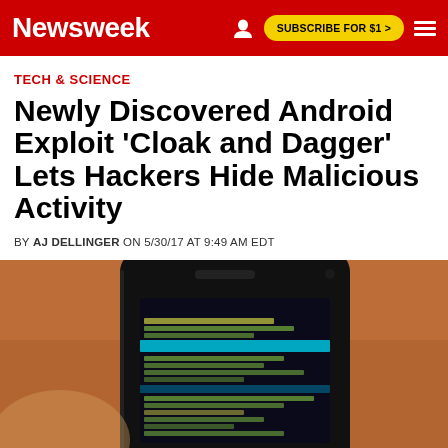Newsweek | SUBSCRIBE FOR $1 >
TECH & SCIENCE
Newly Discovered Android Exploit 'Cloak and Dagger' Lets Hackers Hide Malicious Activity
BY AJ DELLINGER ON 5/30/17 AT 9:49 AM EDT
[Figure (photo): A smartphone showing a terminal/command-line interface with blue and yellow text on a black screen, photographed at an angle on a wooden surface]